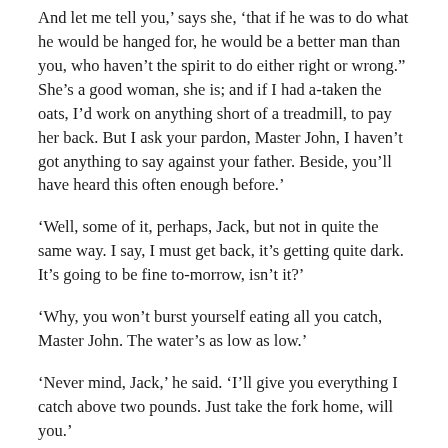And let me tell you,' says she, 'that if he was to do what he would be hanged for, he would be a better man than you, who haven't the spirit to do either right or wrong.' She's a good woman, she is; and if I had a-taken the oats, I'd work on anything short of a treadmill, to pay her back. But I ask your pardon, Master John, I haven't got anything to say against your father. Beside, you'll have heard this often enough before.'
'Well, some of it, perhaps, Jack, but not in quite the same way. I say, I must get back, it's getting quite dark. It's going to be fine to-morrow, isn't it?'
'Why, you won't burst yourself eating all you catch, Master John. The water's as low as low.'
'Never mind, Jack,' he said. 'I'll give you everything I catch above two pounds. Just take the fork home, will you.'
And he went off whistling from the garden into the field from which they had come, just as the low moon was